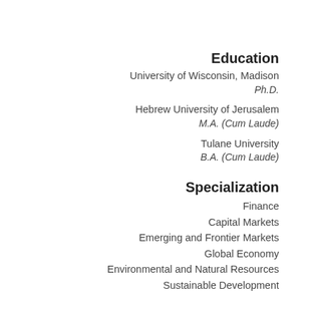Education
University of Wisconsin, Madison
Ph.D.
Hebrew University of Jerusalem
M.A. (Cum Laude)
Tulane University
B.A. (Cum Laude)
Specialization
Finance
Capital Markets
Emerging and Frontier Markets
Global Economy
Environmental and Natural Resources
Sustainable Development